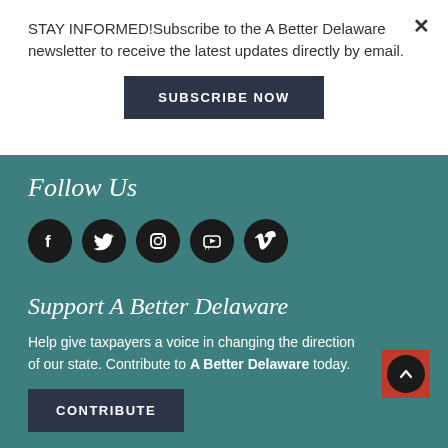STAY INFORMED!Subscribe to the A Better Delaware newsletter to receive the latest updates directly by email.
SUBSCRIBE NOW
Follow Us
[Figure (infographic): Row of five social media icon circles: Facebook, Twitter, Instagram, YouTube, Vimeo]
Support A Better Delaware
Help give taxpayers a voice in changing the direction of our state. Contribute to A Better Delaware today.
CONTRIBUTE